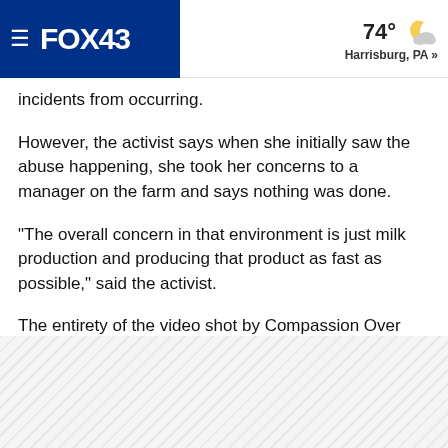FOX43  74° Harrisburg, PA »
incidents from occurring.
However, the activist says when she initially saw the abuse happening, she took her concerns to a manager on the farm and says nothing was done.
"The overall concern in that environment is just milk production and producing that product as fast as possible," said the activist.
The entirety of the video shot by Compassion Over Killing can be found here.